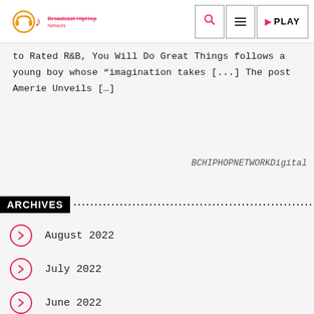Broadcast HipHop Network | Search | Menu | PLAY
to Rated R&B, You Will Do Great Things follows a young boy whose “imagination takes [...] The post Amerie Unveils […]
BCHIPHOPNETWORKDigital
ARCHIVES
August 2022
July 2022
June 2022